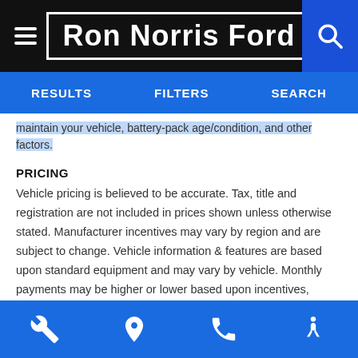Ron Norris Ford
RESULTS  FILTERS  SEARCH
maintain your vehicle, battery-pack age/condition, and other factors.
PRICING
Vehicle pricing is believed to be accurate. Tax, title and registration are not included in prices shown unless otherwise stated. Manufacturer incentives may vary by region and are subject to change. Vehicle information & features are based upon standard equipment and may vary by vehicle. Monthly payments may be higher or lower based upon incentives, qualifying programs, credit qualifications, residency & fees. No claims, or warranties are made to guarantee the accuracy of vehicle pricing, payments or actual equipment. Call to confirm accuracy of any information.
Icons: wrench, location, phone, accessibility